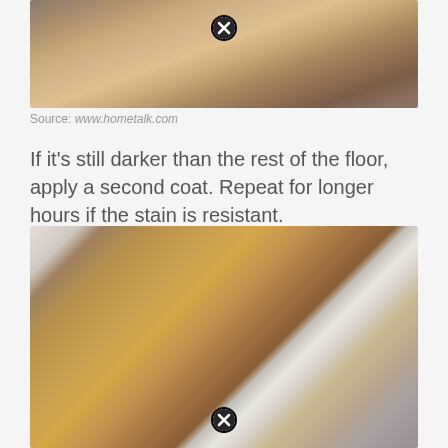[Figure (photo): Close-up photo of scratched and worn hardwood floor surface, showing dark areas and scuff marks]
Source: www.hometalk.com
If it's still darker than the rest of the floor, apply a second coat. Repeat for longer hours if the stain is resistant.
[Figure (photo): Photo of refinished hardwood floor near a fireplace and white pillar/column, showing stairs and brick wall]